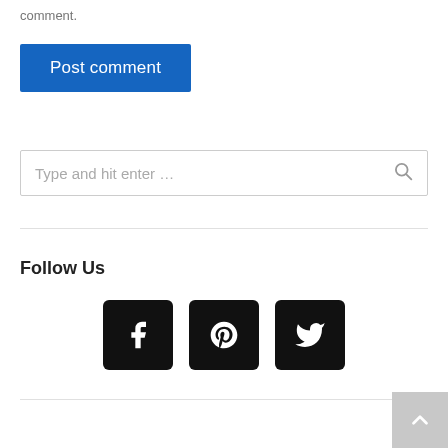comment.
Post comment
Type and hit enter …
Follow Us
[Figure (other): Three social media icon buttons: Facebook (f), Pinterest (p), Twitter (bird), all black rounded squares with white icons]
[Figure (other): Back to top arrow button in grey, bottom right corner]